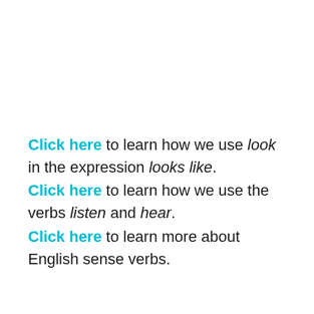Click here to learn how we use look in the expression looks like.
Click here to learn how we use the verbs listen and hear.
Click here to learn more about English sense verbs.